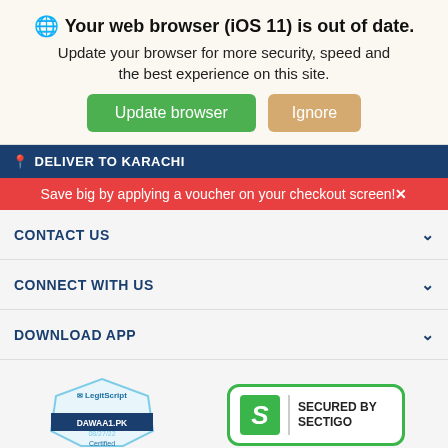🌐 Your web browser (iOS 11) is out of date. Update your browser for more security, speed and the best experience on this site.
Update browser | Ignore
📍 DELIVER TO KARACHI
Save big by applying a voucher on your checkout screen! ✕
CONTACT US
CONNECT WITH US
DOWNLOAD APP
[Figure (logo): LegitScript certified badge for DAWAA1.PK 08/27/22]
[Figure (logo): Secured by Sectigo badge with green S logo]
86.00/Strip Rs. 100.00   View Details ∧
Sold Out